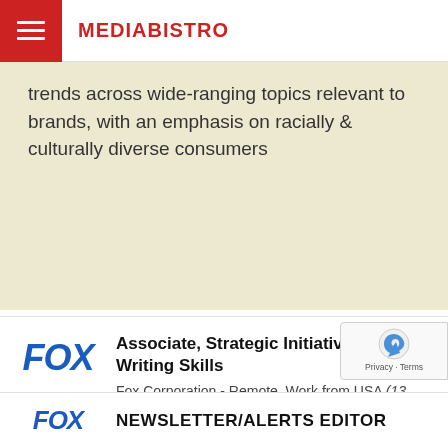MEDIABISTRO
trends across wide-ranging topics relevant to brands, with an emphasis on racially & culturally diverse consumers
Associate, Strategic Initiatives/Strong Writing Skills
Fox Corporation - Remote, Work from USA (13 days ago)
The Strategic Initiatives Associate will be key in managing partnerships for Fox News, particularly with personal finance marketplace Credible. The...
NEWSLETTER/ALERTS EDITOR